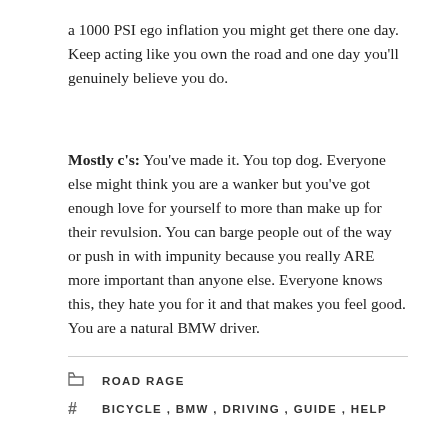a 1000 PSI ego inflation you might get there one day. Keep acting like you own the road and one day you'll genuinely believe you do.
Mostly c's: You've made it. You top dog. Everyone else might think you are a wanker but you've got enough love for yourself to more than make up for their revulsion. You can barge people out of the way or push in with impunity because you really ARE more important than anyone else. Everyone knows this, they hate you for it and that makes you feel good. You are a natural BMW driver.
ROAD RAGE
BICYCLE , BMW , DRIVING , GUIDE , HELP